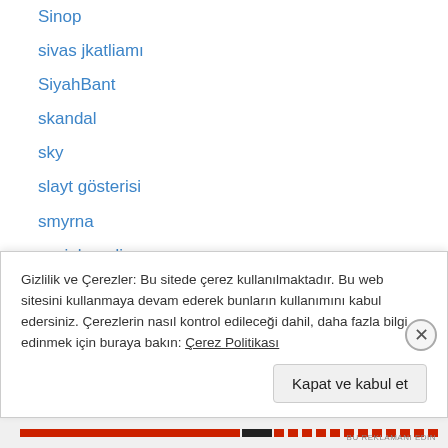Sinop
sivas jkatliamı
SiyahBant
skandal
sky
slayt gösterisi
smyrna
social media
soru
space
still gallery
stockholm
stokholm
Gizlilik ve Çerezler: Bu sitede çerez kullanılmaktadır. Bu web sitesini kullanmaya devam ederek bunların kullanımını kabul edersiniz. Çerezlerin nasıl kontrol edileceği dahil, daha fazla bilgi edinmek için buraya bakın: Çerez Politikası
Kapat ve kabul et
BU REKLAMANI EDIN